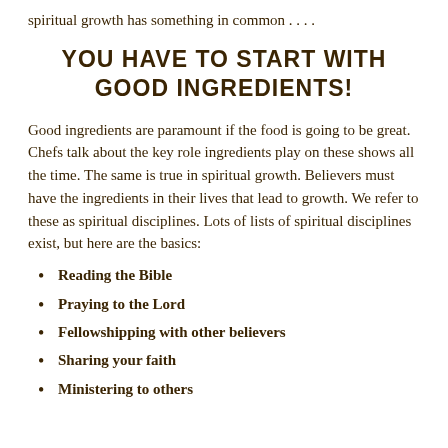spiritual growth has something in common . . . .
YOU HAVE TO START WITH GOOD INGREDIENTS!
Good ingredients are paramount if the food is going to be great. Chefs talk about the key role ingredients play on these shows all the time. The same is true in spiritual growth. Believers must have the ingredients in their lives that lead to growth. We refer to these as spiritual disciplines. Lots of lists of spiritual disciplines exist, but here are the basics:
Reading the Bible
Praying to the Lord
Fellowshipping with other believers
Sharing your faith
Ministering to others